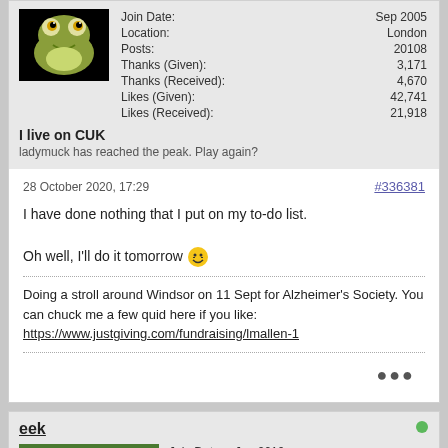[Figure (photo): Profile avatar showing a cartoon frog on black background]
| Field | Value |
| --- | --- |
| Join Date: | Sep 2005 |
| Location: | London |
| Posts: | 20108 |
| Thanks (Given): | 3,171 |
| Thanks (Received): | 4,670 |
| Likes (Given): | 42,741 |
| Likes (Received): | 21,918 |
I live on CUK
ladymuck has reached the peak. Play again?
28 October 2020, 17:29
#336381
I have done nothing that I put on my to-do list.

Oh well, I'll do it tomorrow 😄
Doing a stroll around Windsor on 11 Sept for Alzheimer's Society. You can chuck me a few quid here if you like: https://www.justgiving.com/fundraising/lmallen-1
eek
[Figure (photo): Profile avatar showing a panda bear in grass]
| Field | Value |
| --- | --- |
| Join Date: | Jun 2010 |
| Location: | 😁 |
| Posts: | 30318 |